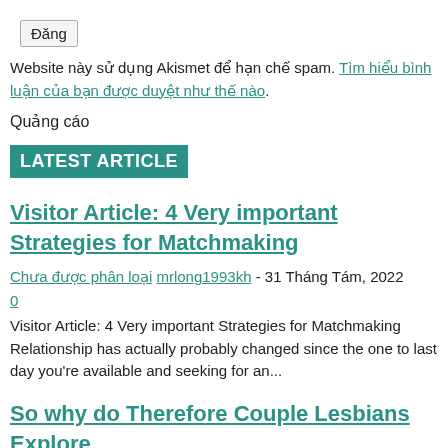Đăng
Website này sử dụng Akismet để hạn chế spam. Tìm hiểu bình luận của bạn được duyệt như thế nào.
Quảng cáo
LATEST ARTICLE
Visitor Article: 4 Very important Strategies for Matchmaking
Chưa được phân loại mrlong1993kh - 31 Tháng Tám, 2022
0
Visitor Article: 4 Very important Strategies for Matchmaking Relationship has actually probably changed since the one to last day you're available and seeking for an...
So why do Therefore Couple Lesbians Explore